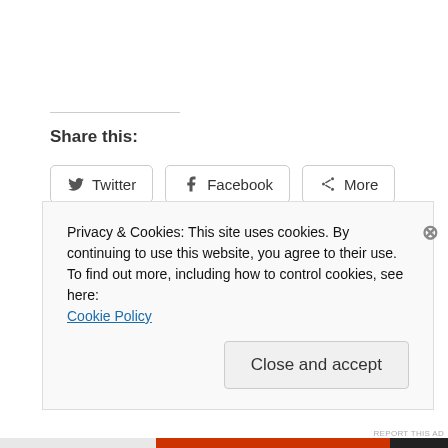Share this:
[Figure (other): Twitter share button]
[Figure (other): Facebook share button]
[Figure (other): More share button]
[Figure (other): Like button with star icon]
Be the first to like this.
Privacy & Cookies: This site uses cookies. By continuing to use this website, you agree to their use.
To find out more, including how to control cookies, see here: Cookie Policy
Close and accept